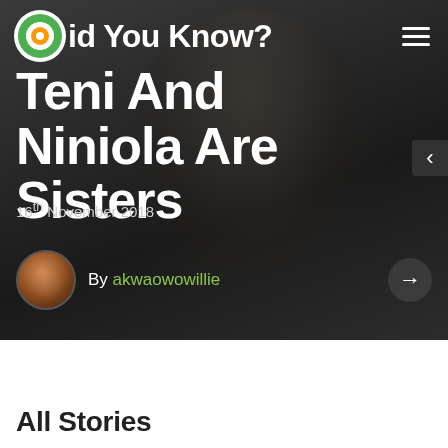Did You Know?
Teni And Niniola Are Sisters
16th November 2018
By akwaowowillie
All Stories